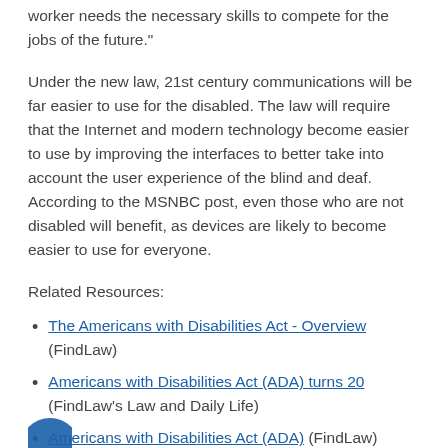worker needs the necessary skills to compete for the jobs of the future."
Under the new law, 21st century communications will be far easier to use for the disabled. The law will require that the Internet and modern technology become easier to use by improving the interfaces to better take into account the user experience of the blind and deaf. According to the MSNBC post, even those who are not disabled will benefit, as devices are likely to become easier to use for everyone.
Related Resources:
The Americans with Disabilities Act - Overview (FindLaw)
Americans with Disabilities Act (ADA) turns 20 (FindLaw's Law and Daily Life)
Americans with Disabilities Act (ADA) (FindLaw)
[Figure (illustration): Partial circular icon/logo at bottom left, blue color]